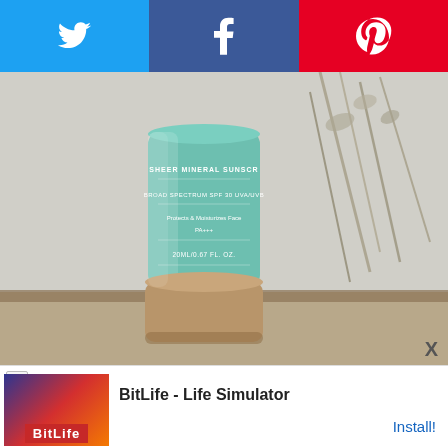[Figure (other): Three social share buttons: Twitter (blue bird icon), Facebook (blue f icon), Pinterest (red P icon)]
[Figure (photo): Close-up photo of a teal/green Biossance Sheer Mineral Sunscreen tube with a tan/brown cap, resting on a white surface with dried botanical stems in the background. Label reads: SHEER MINERAL SUNSCREEN, BROAD SPECTRUM SPF 30 UVA/UVB, Protects & Moisturizes Face, 20ML/0.67 FL. OZ.]
Biossance creates clean, sustainable skincare focused around Squalane. Founded in 2016, Biossance'z award-
[Figure (other): Advertisement banner: BitLife - Life Simulator with Install button]